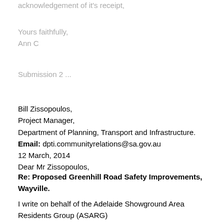acknowledgement of it's receipt,
Yours faithfully,
Ann C
Submission 2 ...
Bill Zissopoulos,
Project Manager,
Department of Planning, Transport and Infrastructure.
Email: dpti.communityrelations@sa.gov.au
12 March, 2014
Dear Mr Zissopoulos,
Re: Proposed Greenhill Road Safety Improvements, Wayville.
I write on behalf of the Adelaide Showground Area Residents Group (ASARG) concerning the proposed safety improvements along